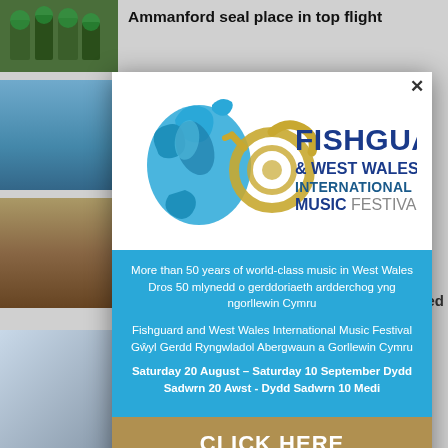Ammanford seal place in top flight
[Figure (logo): Fishguard & West Wales International Music Festival logo with blue wave/splash design, French horn illustration in gold, and bold navy text]
More than 50 years of world-class music in West Wales Dros 50 mlynedd o gerddoriaeth ardderchog yng ngorllewin Cymru

Fishguard and West Wales International Music Festival Gŵyl Gerdd Ryngwladol Abergwaun a Gorllewin Cymru

Saturday 20 August – Saturday 10 September Dydd Sadwrn 20 Awst  - Dydd Sadwrn 10 Medi
CLICK HERE
Former Dewilliams building to be used to bring together key public services all under one roof